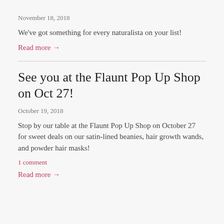November 18, 2018
We've got something for every naturalista on your list!
Read more →
See you at the Flaunt Pop Up Shop on Oct 27!
October 19, 2018
Stop by our table at the Flaunt Pop Up Shop on October 27 for sweet deals on our satin-lined beanies, hair growth wands, and powder hair masks!
1 comment
Read more →